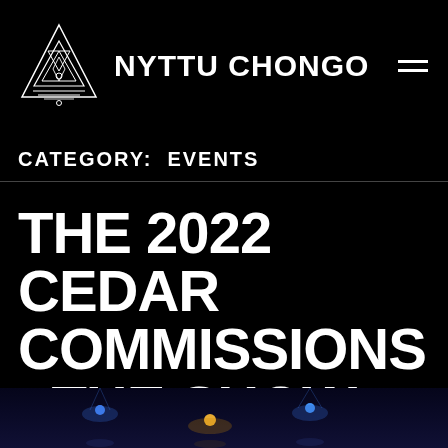NYTTU CHONGO
CATEGORY: EVENTS
THE 2022 CEDAR COMMISSIONS - THE SHOW
[Figure (photo): Stage scene with blue and amber spotlights against dark background, partial view of event/concert stage]